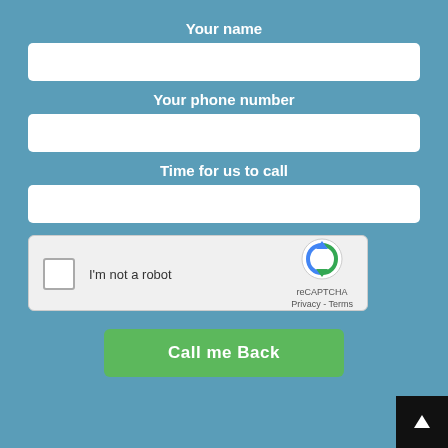Your name
[Figure (screenshot): Empty text input field for Your name]
Your phone number
[Figure (screenshot): Empty text input field for Your phone number]
Time for us to call
[Figure (screenshot): Empty text input field for Time for us to call]
[Figure (screenshot): reCAPTCHA widget with checkbox labeled I'm not a robot, reCAPTCHA logo, Privacy and Terms links]
Call me Back
[Figure (screenshot): Scroll to top button (dark square with upward arrow)]